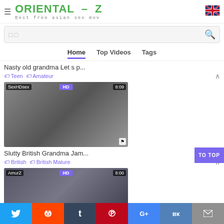ORIENTAL-Z — Best free asian sex mov
Search bar
Home | Top Videos | Tags
Nasty old grandma Let s p...
Teen  Amateur
[Figure (photo): Video thumbnail with SexHDsex badge, HD badge, 8:09 duration]
Slutty British Grandma Jam...
British  British Mature
[Figure (photo): Video thumbnail with AmurZ badge, HD badge, 8:00 duration]
Social share bar: Twitter, Reddit, Tumblr, Pinterest, G+, VK, Email